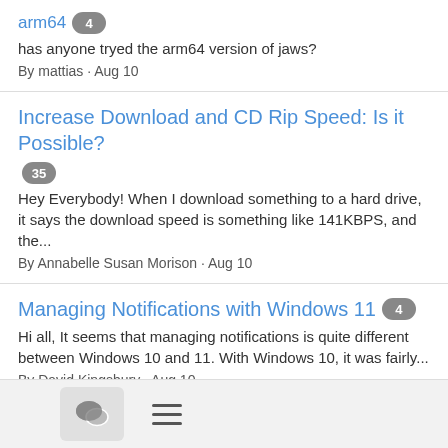arm64 [4]
has anyone tryed the arm64 version of jaws?
By mattias · Aug 10
Increase Download and CD Rip Speed: Is it Possible? [35]
Hey Everybody! When I download something to a hard drive, it says the download speed is something like 141KBPS, and the...
By Annabelle Susan Morison · Aug 10
Managing Notifications with Windows 11 [4]
Hi all, It seems that managing notifications is quite different between Windows 10 and 11. With Windows 10, it was fairly...
By David Kingsbury · Aug 10
Accessible Job Boards [6]
Hi all, What job boards did you find to be accessible? Any that were totally inaccessible? All the Best, Brian Switzer
By Brian Switzer · Aug 10